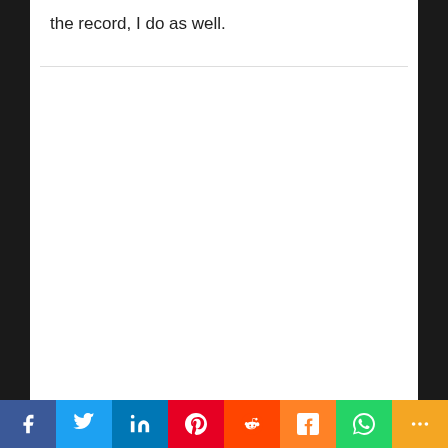the record, I do as well.
Social share bar: Facebook, Twitter, LinkedIn, Pinterest, Reddit, Mix, WhatsApp, More